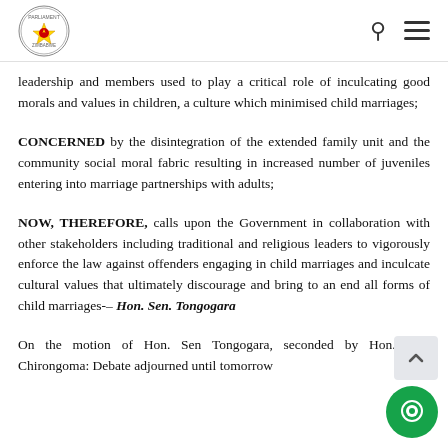Parliament of Zimbabwe
leadership and members used to play a critical role of inculcating good morals and values in children, a culture which minimised child marriages;
CONCERNED by the disintegration of the extended family unit and the community social moral fabric resulting in increased number of juveniles entering into marriage partnerships with adults;
NOW, THEREFORE, calls upon the Government in collaboration with other stakeholders including traditional and religious leaders to vigorously enforce the law against offenders engaging in child marriages and inculcate cultural values that ultimately discourage and bring to an end all forms of child marriages-– Hon. Sen. Tongogara
On the motion of Hon. Sen Tongogara, seconded by Hon. Sen. Chirongoma: Debate adjourned until tomorrow